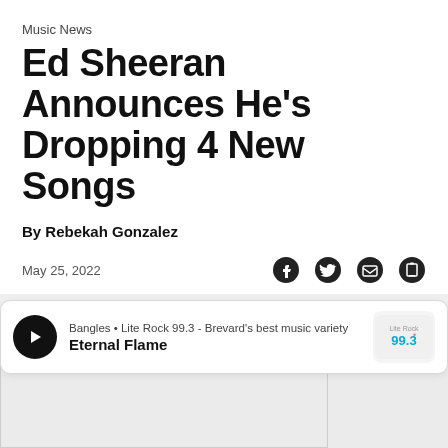Music News
Ed Sheeran Announces He's Dropping 4 New Songs
By Rebekah Gonzalez
May 25, 2022
[Figure (other): Radio player widget showing: Bangles • Lite Rock 99.3 - Brevard's best music variety | Eternal Flame | with play button and station logo]
[Figure (other): Bottom content area - partially visible image placeholder sections]